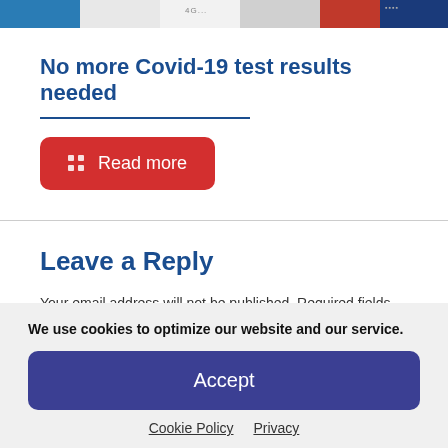[Figure (photo): Top banner image strip showing various news/government related images in a horizontal collage]
No more Covid-19 test results needed
Read more
Leave a Reply
Your email address will not be published. Required fields are marked *
Comment
We use cookies to optimize our website and our service.
Accept
Cookie Policy   Privacy